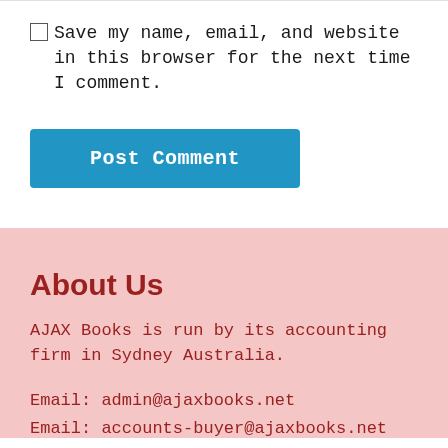Save my name, email, and website in this browser for the next time I comment.
Post Comment
About Us
AJAX Books is run by its accounting firm in Sydney Australia.
Email: admin@ajaxbooks.net
Email: accounts-buyer@ajaxbooks.net